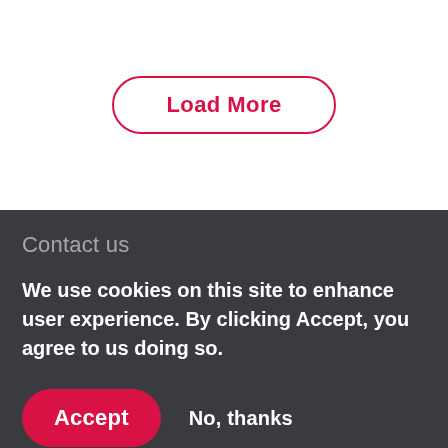[Figure (screenshot): A 'Load More' button with a rounded rectangle outline in crimson/red color on a white background. The button text reads 'Load More' in bold red font.]
Contact us
We use cookies on this site to enhance user experience. By clicking Accept, you agree to us doing so.
Accept  No, thanks